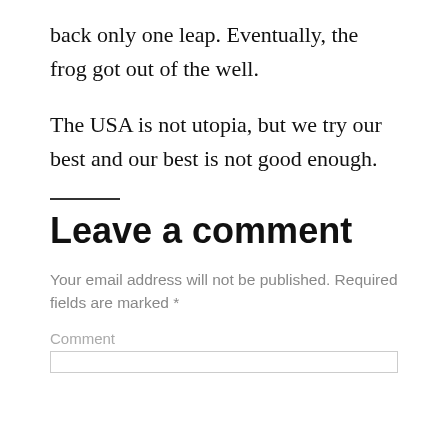back only one leap. Eventually, the frog got out of the well.
The USA is not utopia, but we try our best and our best is not good enough.
Leave a comment
Your email address will not be published. Required fields are marked *
Comment